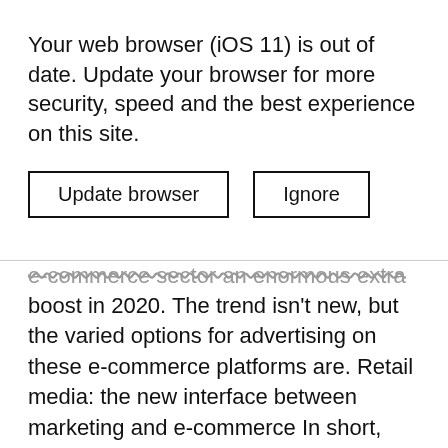Your web browser (iOS 11) is out of date. Update your browser for more security, speed and the best experience on this site.
Update browser | Ignore
e-commerce sector an enormous extra boost in 2020. The trend isn't new, but the varied options for advertising on these e-commerce platforms are. Retail media: the new interface between marketing and e-commerce In short, retail media is when brands display their ads in the various performance marketing formats of web stores and the big e-commerce platforms, for example in the form of banners, links to brand stores embedded in the overall catalog ...